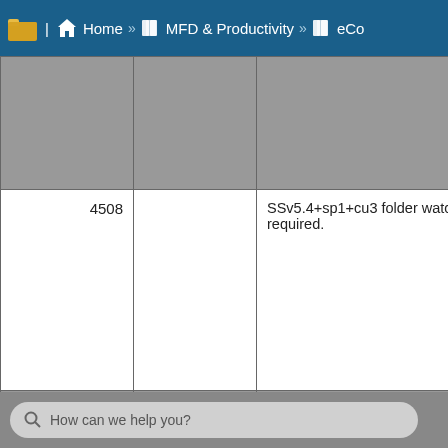Home » MFD & Productivity » eCo
|  |  | Description |
| --- | --- | --- |
|  |  |  |
| 4508 |  | SSv5.4+sp1+cu3 folder watcher becomes inactive. Manual enable required. |
| 4507 |  | Inaccurate ShareScan license count |
| 4506 |  | Biscom FAXconnector works on v5.2 does not work on v5.4 |